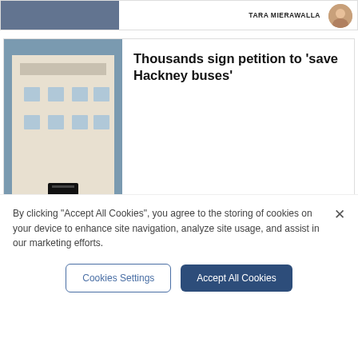[Figure (photo): Partial top card with author name partially visible (TARA MIERAWALLA) and avatar]
[Figure (photo): Group of people standing outside 10 Downing Street]
Thousands sign petition to 'save Hackney buses'
CHARLOTTE ALT
[Figure (photo): Food image showing festival food items]
PROMOTION
Festival Foodie's Guide: 9 culinary delights to try at All Points East...
By clicking "Accept All Cookies", you agree to the storing of cookies on your device to enhance site navigation, analyze site usage, and assist in our marketing efforts.
Cookies Settings
Accept All Cookies